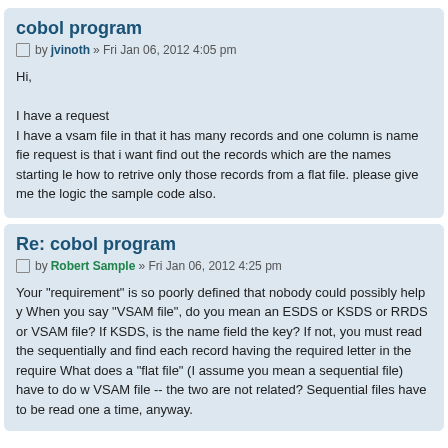cobol program
by jvinoth » Fri Jan 06, 2012 4:05 pm
Hi,

I have a request
I have a vsam file in that it has many records and one column is name field. My request is that i want find out the records which are the names starting le how to retrive only those records from a flat file. please give me the logic the sample code also.
Re: cobol program
by Robert Sample » Fri Jan 06, 2012 4:25 pm
Your "requirement" is so poorly defined that nobody could possibly help y When you say "VSAM file", do you mean an ESDS or KSDS or RRDS or VSAM file? If KSDS, is the name field the key? If not, you must read the sequentially and find each record having the required letter in the require What does a "flat file" (I assume you mean a sequential file) have to do w VSAM file -- the two are not related? Sequential files have to be read one a time, anyway.